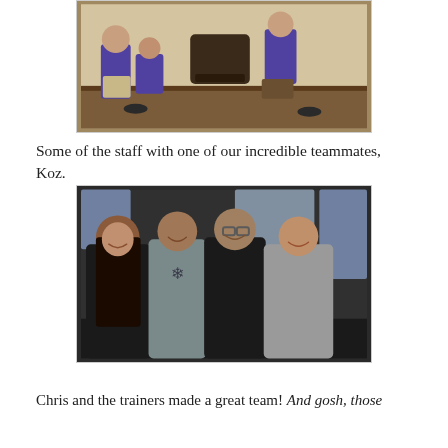[Figure (photo): Photo of staff members in purple shirts sitting on chairs in a room, one person kneeling beside another]
Some of the staff with one of our incredible teammates, Koz.
[Figure (photo): Group photo of four people (two women and two men) smiling together indoors, with large windows in the background]
Chris and the trainers made a great team! And gosh, those